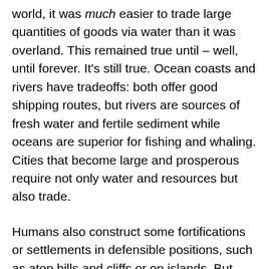world, it was much easier to trade large quantities of goods via water than it was overland. This remained true until – well, until forever. It's still true. Ocean coasts and rivers have tradeoffs: both offer good shipping routes, but rivers are sources of fresh water and fertile sediment while oceans are superior for fishing and whaling. Cities that become large and prosperous require not only water and resources but also trade.
Humans also construct some fortifications or settlements in defensible positions, such as atop hills and cliffs or on islands. But these structures will still be close to their centers of civilization (river valleys and coastlines), especially at first. Some